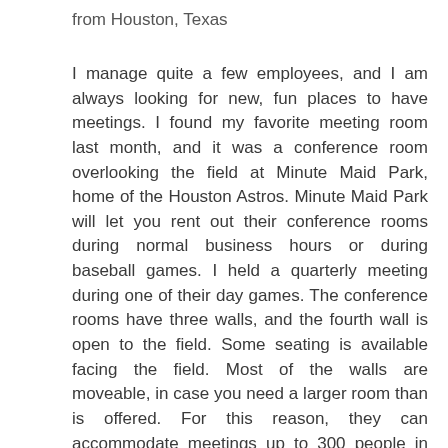from Houston, Texas
I manage quite a few employees, and I am always looking for new, fun places to have meetings. I found my favorite meeting room last month, and it was a conference room overlooking the field at Minute Maid Park, home of the Houston Astros. Minute Maid Park will let you rent out their conference rooms during normal business hours or during baseball games. I held a quarterly meeting during one of their day games. The conference rooms have three walls, and the fourth wall is open to the field. Some seating is available facing the field. Most of the walls are moveable, in case you need a larger room than is offered. For this reason, they can accommodate meetings up to 300 people in size. Tables and chairs are provided by Minute Maid Park. I gave an estimate for the number of people who would be attending, and they had everything set up ahead of time. We actually had 25 more people than expected, but the staff was wonderful! They got together and quickly found additional seating. They did this with a smile! In addition to the fun of being able to watch a baseball game during a meeting, the food is great. They do require that you purchase their food, but you have a choice of several different types. This must be